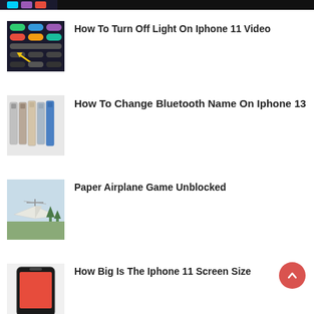[Figure (screenshot): Partial top image, dark/colorful smartphone screen cropped at top of page]
How To Turn Off Light On Iphone 11 Video
[Figure (screenshot): iPhone control center screenshot with arrow pointing to flashlight icon]
How To Change Bluetooth Name On Iphone 13
[Figure (photo): Row of iPhone 13 Pro models in various colors]
Paper Airplane Game Unblocked
[Figure (photo): Paper airplane or aircraft on airfield]
How Big Is The Iphone 11 Screen Size
[Figure (photo): iPhone 11 partial image at bottom of page]